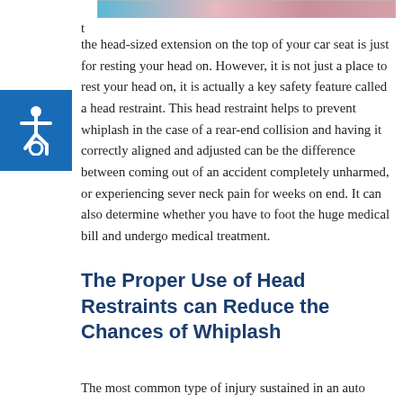[Figure (photo): Partial photo of car seat headrest area at top of page]
t
the head-sized extension on the top of your car seat is just for resting your head on. However, it is not just a place to rest your head on, it is actually a key safety feature called a head restraint. This head restraint helps to prevent whiplash in the case of a rear-end collision and having it correctly aligned and adjusted can be the difference between coming out of an accident completely unharmed, or experiencing sever neck pain for weeks on end. It can also determine whether you have to foot the huge medical bill and undergo medical treatment.
[Figure (logo): Blue accessibility wheelchair icon badge on left side]
The Proper Use of Head Restraints can Reduce the Chances of Whiplash
The most common type of injury sustained in an auto